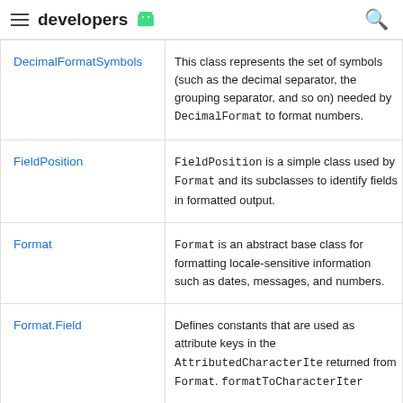developers
| Class | Description |
| --- | --- |
| DecimalFormatSymbols | This class represents the set of symbols (such as the decimal separator, the grouping separator, and so on) needed by DecimalFormat to format numbers. |
| FieldPosition | FieldPosition is a simple class used by Format and its subclasses to identify fields in formatted output. |
| Format | Format is an abstract base class for formatting locale-sensitive information such as dates, messages, and numbers. |
| Format.Field | Defines constants that are used as attribute keys in the AttributedCharacterIterator returned from Format.formatToCharacterIterator. |